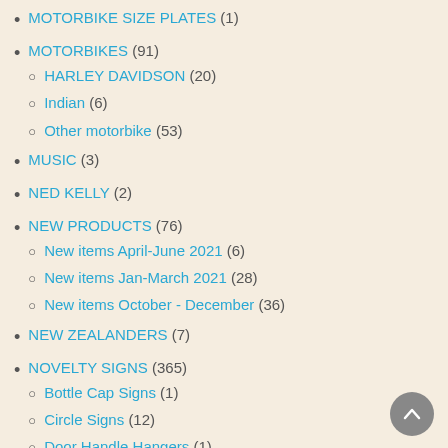MOTORBIKE SIZE PLATES (1)
MOTORBIKES (91)
HARLEY DAVIDSON (20)
Indian (6)
Other motorbike (53)
MUSIC (3)
NED KELLY (2)
NEW PRODUCTS (76)
New items April-June 2021 (6)
New items Jan-March 2021 (28)
New items October - December (36)
NEW ZEALANDERS (7)
NOVELTY SIGNS (365)
Bottle Cap Signs (1)
Circle Signs (12)
Door Handle Hangers (1)
Large Signs (166)
Mini Street Signs (1)
Octagon Signs (2)
Shield Signs (1)
Slimline Signs (19)